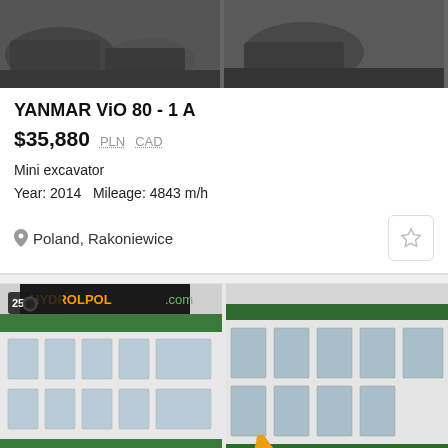[Figure (photo): Two partial photos of a Yanmar excavator bucket/attachment, cropped at top of page]
YANMAR ViO 80 - 1 A
$35,880  PLN  CAD
Mini excavator
Year: 2014   Mileage: 4843 m/h
Poland, Rakoniewice
[Figure (photo): Two photos of a Yanmar VIO 20-4 mini excavator in yellow and red, parked in front of a building with HYDROLPOL.com signage]
YANMAR VIO 20-4
$17,040  PLN  CAD